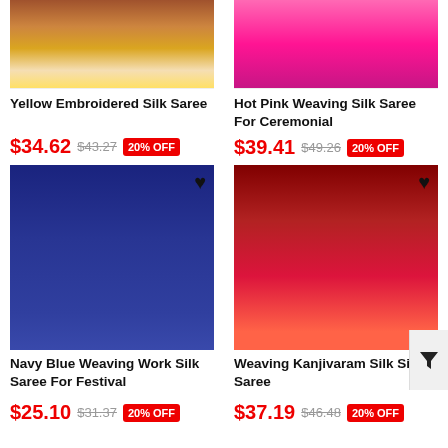[Figure (photo): Yellow Embroidered Silk Saree product image, top portion cropped]
[Figure (photo): Hot Pink Weaving Silk Saree product image, top portion cropped]
Yellow Embroidered Silk Saree
Hot Pink Weaving Silk Saree For Ceremonial
$34.62  $43.27  20% OFF
$39.41  $49.26  20% OFF
[Figure (photo): Navy Blue Weaving Work Silk Saree product image with heart icon]
[Figure (photo): Weaving Kanjivaram Silk Silk Saree product image with heart icon]
Navy Blue Weaving Work Silk Saree For Festival
Weaving Kanjivaram Silk Silk Saree
$25.10  $31.37  20% OFF
$37.19  $46.48  20% OFF